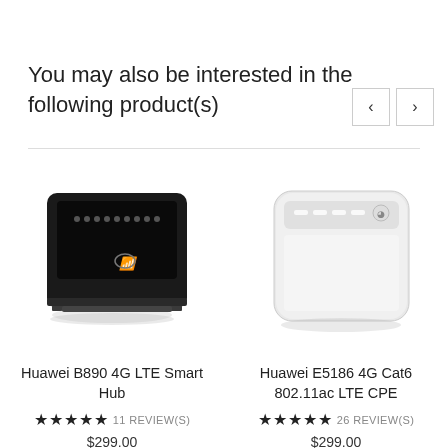You may also be interested in the following product(s)
[Figure (photo): Huawei B890 4G LTE Smart Hub router - black square device with LED indicators and Huawei logo]
Huawei B890 4G LTE Smart Hub
★★★★★ 11 REVIEW(S)
$299.00
[Figure (photo): Huawei E5186 4G Cat6 802.11ac LTE CPE router - white square device with indicator LEDs on top]
Huawei E5186 4G Cat6 802.11ac LTE CPE
★★★★★ 26 REVIEW(S)
$299.00